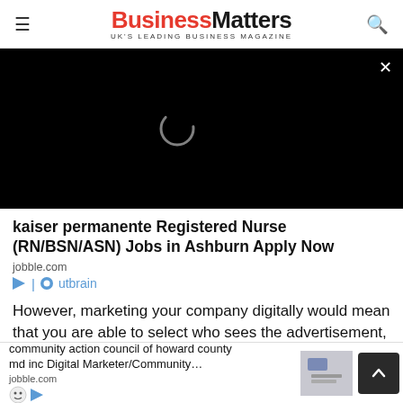BusinessMatters — UK'S LEADING BUSINESS MAGAZINE
[Figure (screenshot): Black video player area with a spinning loading circle indicator and a white × close button in the top right corner]
kaiser permanente Registered Nurse (RN/BSN/ASN) Jobs in Ashburn Apply Now
jobble.com
[Figure (logo): Outbrain logo with play triangle icon and circular icon]
However, marketing your company digitally would mean that you are able to select who sees the advertisement, making sure that it is only seen by those that are genuinely interested. There are many digital marketing tools and options on social platforms such as Facebook that allow you to select the gender, relationship status a
[Figure (screenshot): Bottom ad bar showing 'community action council of howard county md inc Digital Marketer/Community…' from jobble.com with a thumbnail image, smiley/outbrain icons, and a dark scroll-to-top button with upward arrow]